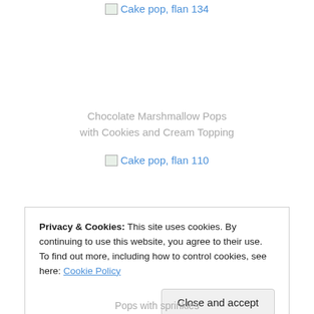[Figure (other): Broken image placeholder labeled 'Cake pop, flan 134']
Chocolate Marshmallow Pops with Cookies and Cream Topping
[Figure (other): Broken image placeholder labeled 'Cake pop, flan 110']
Privacy & Cookies: This site uses cookies. By continuing to use this website, you agree to their use. To find out more, including how to control cookies, see here: Cookie Policy
Close and accept
Pops with sprinkles